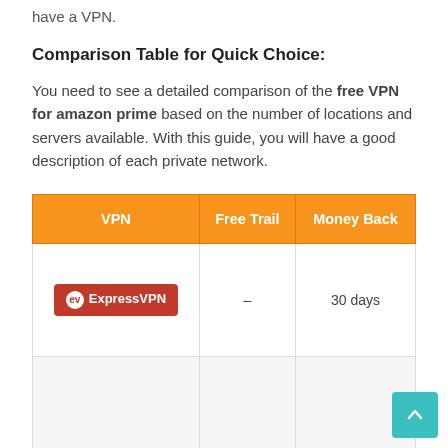have a VPN.
Comparison Table for Quick Choice:
You need to see a detailed comparison of the free VPN for amazon prime based on the number of locations and servers available. With this guide, you will have a good description of each private network.
| VPN | Free Trail | Money Back |
| --- | --- | --- |
| ExpressVPN | – | 30 days |
|  |  |  |